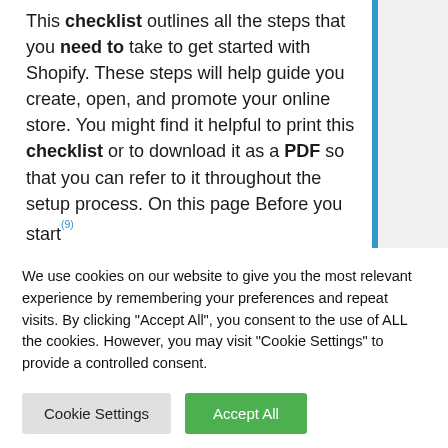This checklist outlines all the steps that you need to take to get started with Shopify. These steps will help guide you create, open, and promote your online store. You might find it helpful to print this checklist or to download it as a PDF so that you can refer to it throughout the setup process. On this page Before you start(9)
We use cookies on our website to give you the most relevant experience by remembering your preferences and repeat visits. By clicking "Accept All", you consent to the use of ALL the cookies. However, you may visit "Cookie Settings" to provide a controlled consent.